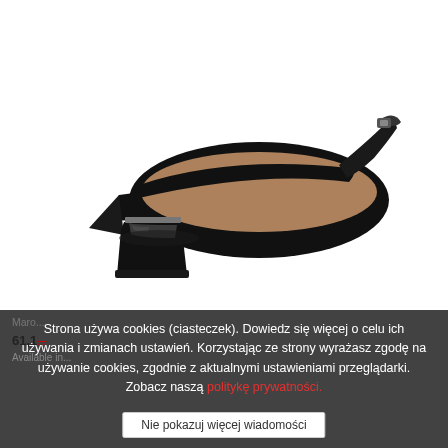[Figure (photo): Black slingback heel shoe with pointed toe and block heel, shown from the side on a white background.]
Maro... [product info partially obscured]
61,1...
Available in...
Strona używa cookies (ciasteczek). Dowiedz się więcej o celu ich używania i zmianach ustawień. Korzystając ze strony wyrażasz zgodę na używanie cookies, zgodnie z aktualnymi ustawieniami przeglądarki. Zobacz naszą politykę prywatności.
Nie pokazuj więcej wiadomości